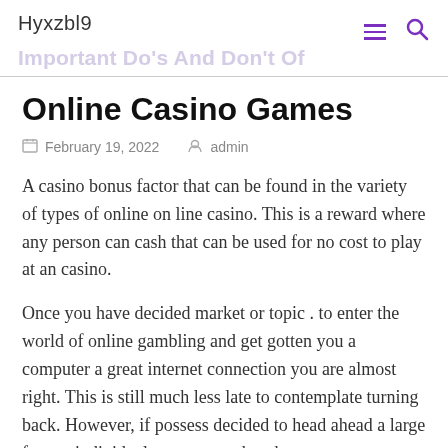Hyxzbl9
Important Do's And Don't Of Online Casino Games
February 19, 2022   admin
A casino bonus factor that can be found in the variety of types of online on line casino. This is a reward where any person can cash that can be used for no cost to play at an casino.
Once you have decided market or topic . to enter the world of online gambling and get gotten you a computer a great internet connection you are almost right. This is still much less late to contemplate turning back. However, if possess decided to head ahead a large few an individual must remember that.